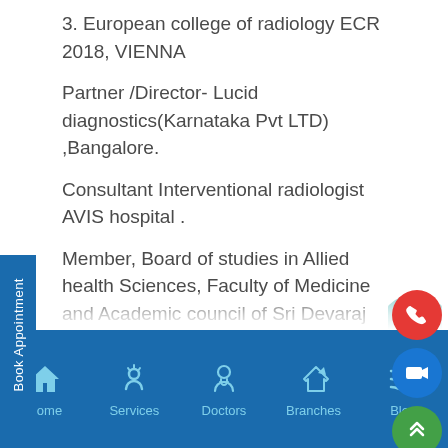3. European college of radiology ECR 2018, VIENNA
Partner /Director- Lucid diagnostics(Karnataka Pvt LTD) ,Bangalore.
Consultant Interventional radiologist AVIS hospital .
Member, Board of studies in Allied health Sciences, Faculty of Medicine and Academic council of Sri Devaraj Urs Academy of higher education & research, Deemed University.
Home   Services   Doctors   Branches   Blog